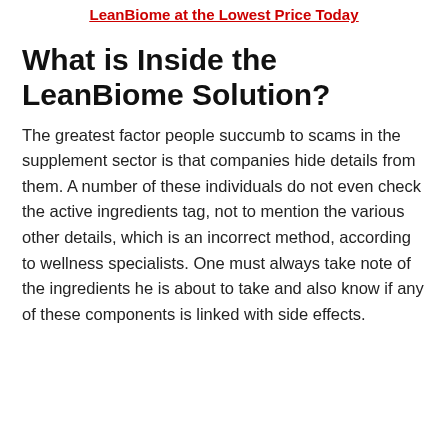LeanBiome at the Lowest Price Today
What is Inside the LeanBiome Solution?
The greatest factor people succumb to scams in the supplement sector is that companies hide details from them. A number of these individuals do not even check the active ingredients tag, not to mention the various other details, which is an incorrect method, according to wellness specialists. One must always take note of the ingredients he is about to take and also know if any of these components is linked with side effects.